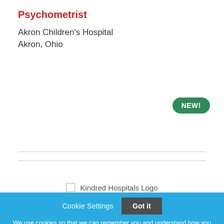Psychometrist
Akron Children's Hospital
Akron, Ohio
[Figure (logo): Kindred Hospitals Logo placeholder image]
Cookie Settings  Got it
We use cookies so that we can remember you and understand how you use our site. If you do not agree with our use of cookies, please change the current settings found in our Cookie Policy. Otherwise, you agree to the use of the cookies as they are currently set.